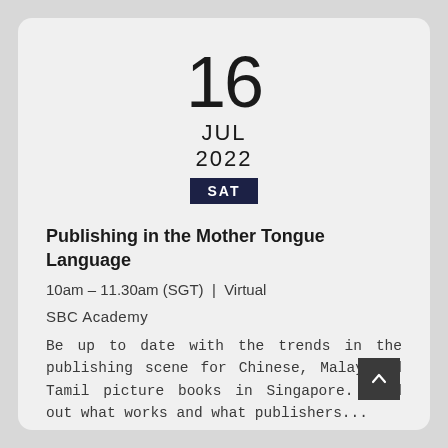16
JUL
2022
SAT
Publishing in the Mother Tongue Language
10am – 11.30am (SGT)  |  Virtual
SBC Academy
Be up to date with the trends in the publishing scene for Chinese, Malay and Tamil picture books in Singapore. Find out what works and what publishers...
VIEW DETAILS